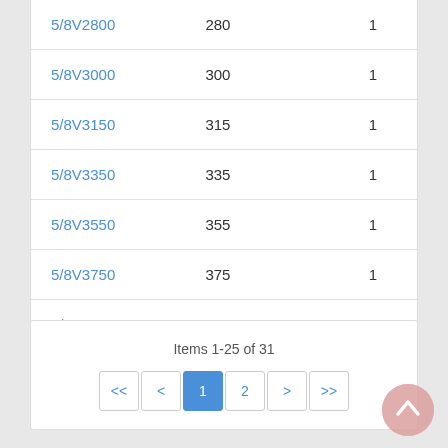| Part Number | Size | Qty |
| --- | --- | --- |
| 5/8V2800 | 280 | 1 |
| 5/8V3000 | 300 | 1 |
| 5/8V3150 | 315 | 1 |
| 5/8V3350 | 335 | 1 |
| 5/8V3550 | 355 | 1 |
| 5/8V3750 | 375 | 1 |
| 5/8V4000 | 400 | 1 |
Items 1-25 of 31
<< < 1 2 > >>